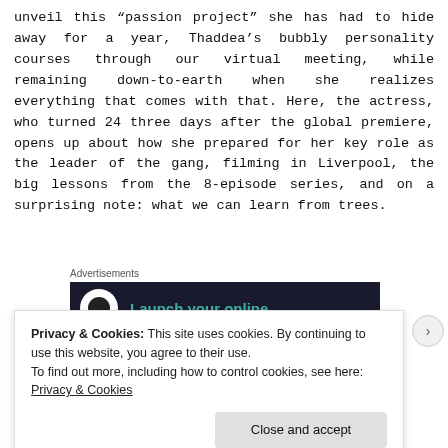unveil this “passion project” she has had to hide away for a year, Thaddea’s bubbly personality courses through our virtual meeting, while remaining down-to-earth when she realizes everything that comes with that. Here, the actress, who turned 24 three days after the global premiere, opens up about how she prepared for her key role as the leader of the gang, filming in Liverpool, the big lessons from the 8-episode series, and on a surprising note: what we can learn from trees.
Advertisements
[Figure (screenshot): Dark advertisement banner with circular logo and teal text reading 'Launch your online']
Privacy & Cookies: This site uses cookies. By continuing to use this website, you agree to their use.
To find out more, including how to control cookies, see here: Privacy & Cookies
Close and accept